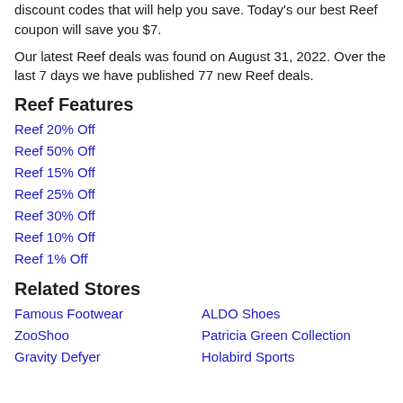discount codes that will help you save. Today's our best Reef coupon will save you $7.
Our latest Reef deals was found on August 31, 2022. Over the last 7 days we have published 77 new Reef deals.
Reef Features
Reef 20% Off
Reef 50% Off
Reef 15% Off
Reef 25% Off
Reef 30% Off
Reef 10% Off
Reef 1% Off
Related Stores
Famous Footwear
ALDO Shoes
ZooShoo
Patricia Green Collection
Gravity Defyer
Holabird Sports